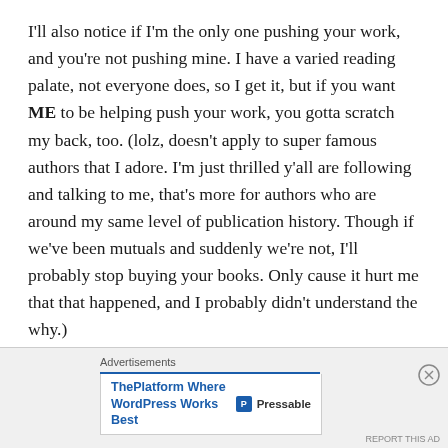I'll also notice if I'm the only one pushing your work, and you're not pushing mine. I have a varied reading palate, not everyone does, so I get it, but if you want ME to be helping push your work, you gotta scratch my back, too. (lolz, doesn't apply to super famous authors that I adore. I'm just thrilled y'all are following and talking to me, that's more for authors who are around my same level of publication history. Though if we've been mutuals and suddenly we're not, I'll probably stop buying your books. Only cause it hurt me that that happened, and I probably didn't understand the why.)
[Figure (other): Advertisement banner for Pressable - ThePlatform Where WordPress Works Best]